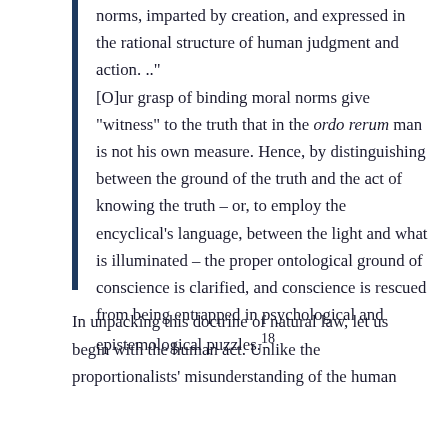norms, imparted by creation, and expressed in the rational structure of human judgment and action. .."
[O]ur grasp of binding moral norms give “witness” to the truth that in the ordo rerum man is not his own measure. Hence, by distinguishing between the ground of the truth and the act of knowing the truth – or, to employ the encyclical’s language, between the light and what is illuminated – the proper ontological ground of conscience is clarified, and conscience is rescued from being entrapped in psychological and epistemological puzzles.18
In unpacking this doctrine of natural law, let us begin with the human act. Unlike the proportionalists’ misunderstanding of the human